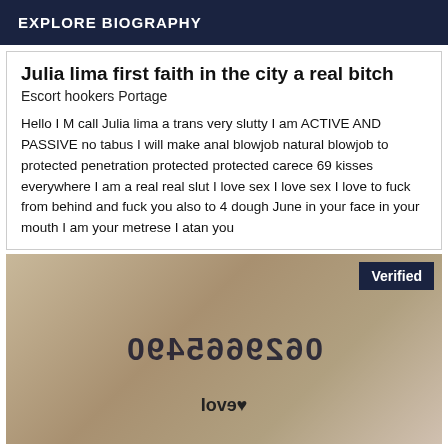EXPLORE BIOGRAPHY
Julia lima first faith in the city a real bitch
Escort hookers Portage
Hello I M call Julia lima a trans very slutty I am ACTIVE AND PASSIVE no tabus I will make anal blowjob natural blowjob to protected penetration protected protected carece 69 kisses everywhere I am a real real slut I love sex I love sex I love to fuck from behind and fuck you also to 4 dough June in your face in your mouth I am your metrese I atan you
[Figure (photo): Photo with mirrored phone number text overlay and verified badge]